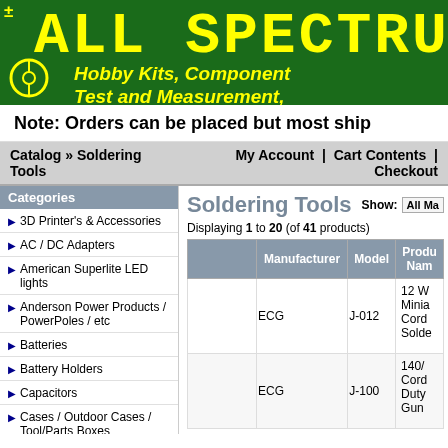ALL SPECTRUM - Hobby Kits, Components, Test and Measurement,
Note: Orders can be placed but most ship
Catalog » Soldering Tools   My Account | Cart Contents | Checkout
Categories
3D Printer's & Accessories
AC / DC Adapters
American Superlite LED lights
Anderson Power Products / PowerPoles / etc
Batteries
Battery Holders
Capacitors
Cases / Outdoor Cases / Tool/Parts Boxes
CCD Cameras /
Soldering Tools
Displaying 1 to 20 (of 41 products)
|  | Manufacturer | Model | Product Name |
| --- | --- | --- | --- |
|  | ECG | J-012 | 12 W Miniature Cordless Solde... |
|  | ECG | J-100 | 140/... Cordless Duty Gun... |